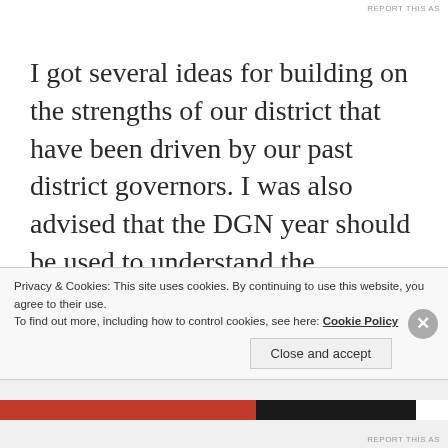REPORT THIS AS
I got several ideas for building on the strengths of our district that have been driven by our past district governors. I was also advised that the DGN year should be used to understand the inventory in the district, and the DGE year should be used for devising strategy. So at the appropriate time, we convened a strategic planning committee made up of Rotarians from different clubs that spent several months
Privacy & Cookies: This site uses cookies. By continuing to use this website, you agree to their use.
To find out more, including how to control cookies, see here: Cookie Policy
Close and accept
REPORT THIS AS